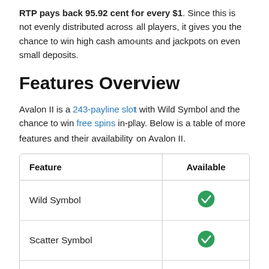RTP pays back 95.92 cent for every $1. Since this is not evenly distributed across all players, it gives you the chance to win high cash amounts and jackpots on even small deposits.
Features Overview
Avalon II is a 243-payline slot with Wild Symbol and the chance to win free spins in-play. Below is a table of more features and their availability on Avalon II.
| Feature | Available |
| --- | --- |
| Wild Symbol | ✓ |
| Scatter Symbol | ✓ |
| Free Spins | ✓ |
| Bonus Games | ✓ |